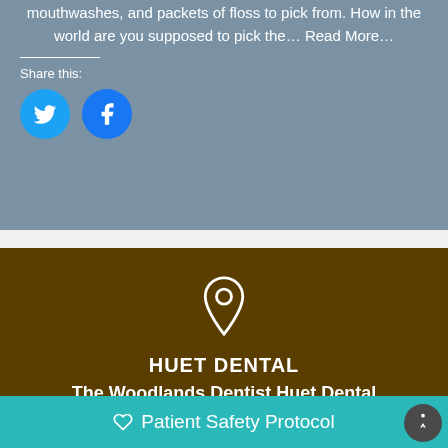mouthwashes, and packets of floss to pick from. How in the world are you supposed to pick the… Read More…
Share this:
[Figure (infographic): Social media share buttons: Twitter (blue bird icon) and Facebook (blue f icon)]
[Figure (infographic): Location pin icon in white on brown background]
HUET DENTAL
The Woodlands Dentist Huet Dental
3115 College Park Drive
#105
♡ Patient Safety Protocol